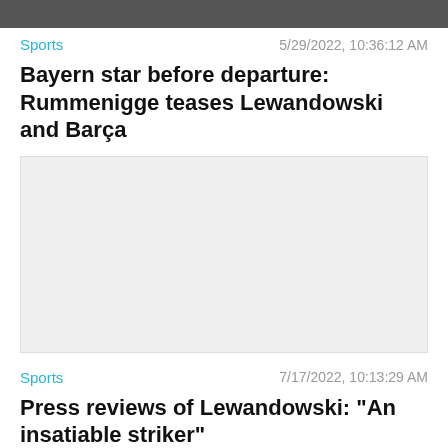[Figure (photo): Top portion of a photo showing person(s), partially visible at top of page]
Sports	5/29/2022, 10:36:12 AM
Bayern star before departure: Rummenigge teases Lewandowski and Barça
[Figure (photo): Large light gray placeholder image for article about Rummenigge and Lewandowski]
Sports	7/17/2022, 10:13:29 AM
Press reviews of Lewandowski: "An insatiable striker"
Close X
[Figure (photo): Light gray placeholder image for second article, partially visible at bottom]